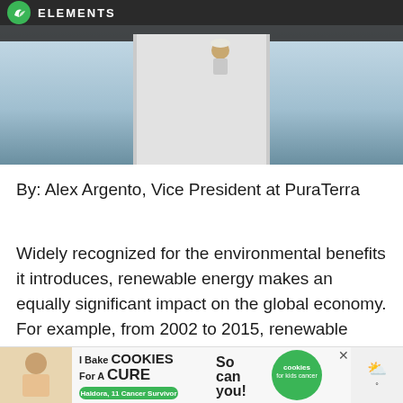ELEMENTS
[Figure (photo): Construction or building photo showing a white panel/wall with a person visible at the top, against a light blue sky background.]
By: Alex Argento, Vice President at PuraTerra
Widely recognized for the environmental benefits it introduces, renewable energy makes an equally significant impact on the global economy. For example, from 2002 to 2015, renewable
[Figure (photo): Advertisement banner: 'I Bake COOKIES For A CURE – So can you! cookies for kids cancer' with photo of a girl named Haldora, 11, Cancer Survivor]